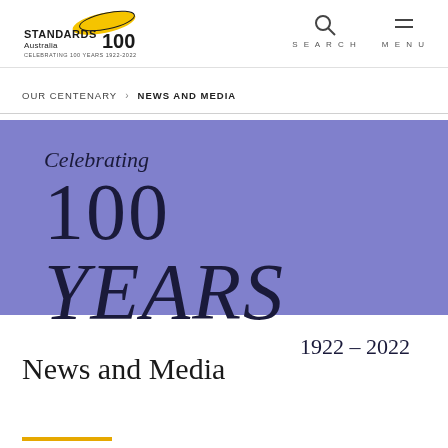Standards Australia 100 — CELEBRATING 100 YEARS 1922-2022 | SEARCH | MENU
OUR CENTENARY > NEWS AND MEDIA
[Figure (illustration): Standards Australia 100th anniversary banner: purple/periwinkle background with text 'Celebrating 100 YEARS 1922 – 2022' in dark serif font]
News and Media